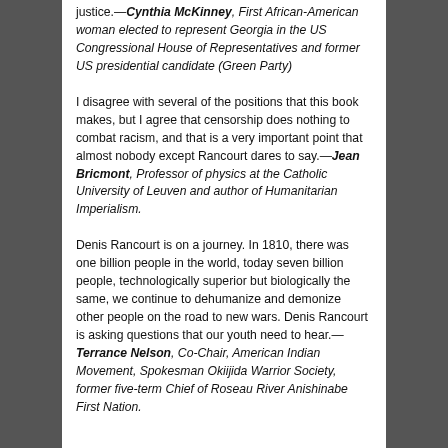justice.—Cynthia McKinney, First African-American woman elected to represent Georgia in the US Congressional House of Representatives and former US presidential candidate (Green Party)
I disagree with several of the positions that this book makes, but I agree that censorship does nothing to combat racism, and that is a very important point that almost nobody except Rancourt dares to say.—Jean Bricmont, Professor of physics at the Catholic University of Leuven and author of Humanitarian Imperialism.
Denis Rancourt is on a journey. In 1810, there was one billion people in the world, today seven billion people, technologically superior but biologically the same, we continue to dehumanize and demonize other people on the road to new wars. Denis Rancourt is asking questions that our youth need to hear.—Terrance Nelson, Co-Chair, American Indian Movement, Spokesman Okiijida Warrior Society, former five-term Chief of Roseau River Anishinabe First Nation.